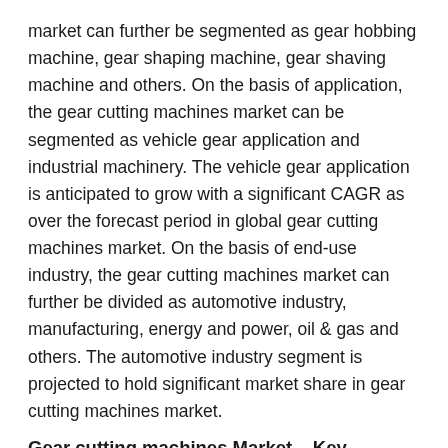market can further be segmented as gear hobbing machine, gear shaping machine, gear shaving machine and others. On the basis of application, the gear cutting machines market can be segmented as vehicle gear application and industrial machinery. The vehicle gear application is anticipated to grow with a significant CAGR as over the forecast period in global gear cutting machines market. On the basis of end-use industry, the gear cutting machines market can further be divided as automotive industry, manufacturing, energy and power, oil & gas and others. The automotive industry segment is projected to hold significant market share in gear cutting machines market.
Gear cutting machines Market – Key